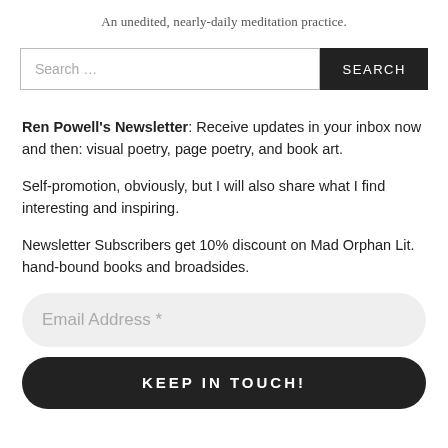An unedited, nearly-daily meditation practice.
[Figure (other): Search bar with text input field showing 'Search …' placeholder and a dark 'SEARCH' button]
Ren Powell's Newsletter: Receive updates in your inbox now and then: visual poetry, page poetry, and book art.
Self-promotion, obviously, but I will also share what I find interesting and inspiring.
Newsletter Subscribers get 10% discount on Mad Orphan Lit. hand-bound books and broadsides.
[Figure (other): Email address input field with rounded corners and placeholder text 'Email Address *']
[Figure (other): Dark rounded button with text 'KEEP IN TOUCH!']